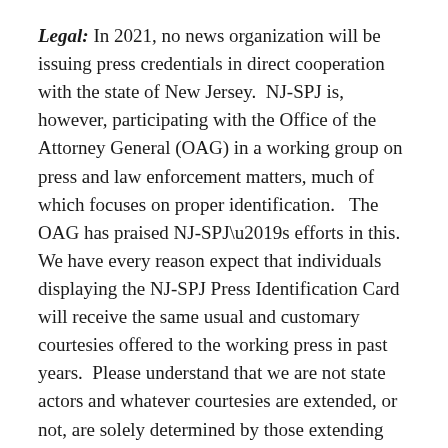Legal: In 2021, no news organization will be issuing press credentials in direct cooperation with the state of New Jersey.  NJ-SPJ is, however, participating with the Office of the Attorney General (OAG) in a working group on press and law enforcement matters, much of which focuses on proper identification.   The OAG has praised NJ-SPJ’s efforts in this.  We have every reason expect that individuals displaying the NJ-SPJ Press Identification Card will receive the same usual and customary courtesies offered to the working press in past years.  Please understand that we are not state actors and whatever courtesies are extended, or not, are solely determined by those extending them.
Fee: For legal and insurance reasons, you must become a member of NJ-SPJ to qualify for a card.